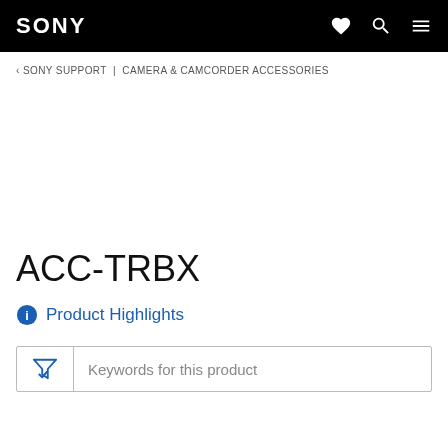SONY
< SONY SUPPORT | CAMERA & CAMCORDER ACCESSORIES
ACC-TRBX
Product Highlights
Keywords for this product